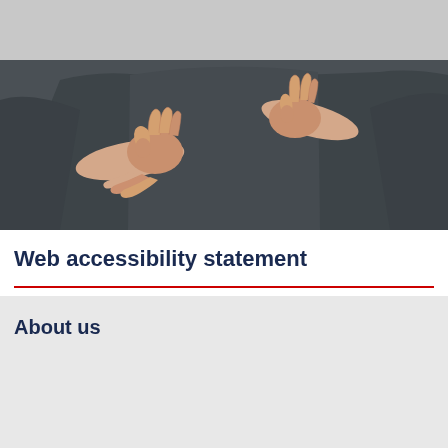[Figure (photo): Close-up photo of a person in a dark grey long-sleeve shirt performing sign language gestures with both hands, showing finger shapes against their torso. Light grey background.]
Web accessibility statement
About us